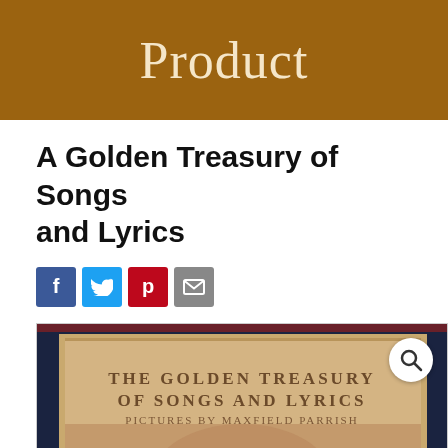Product
A Golden Treasury of Songs and Lyrics
[Figure (other): Four social sharing buttons: Facebook (blue, f), Twitter (light blue, bird icon), Pinterest (red, p), Email (grey, envelope icon)]
[Figure (photo): Photo of the front cover of 'The Golden Treasury of Songs and Lyrics, Pictures by Maxfield Parrish' — a book with dark navy blue binding and a painted cover illustration showing figures, with a magnifying glass search icon in the upper right corner of the image.]